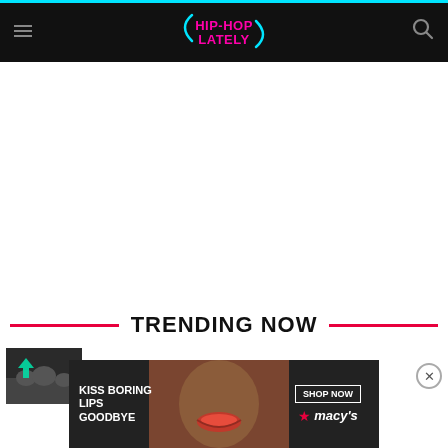Hip-Hop Lately
[Figure (other): Large white advertisement/content area (blank space for ad)]
TRENDING NOW
[Figure (photo): Thumbnail image of Trae The Truth & Crew]
Watch Trae The Truth & Crew Jump
[Figure (photo): Macy's advertisement banner: KISS BORING LIPS GOODBYE — SHOP NOW — macy's]